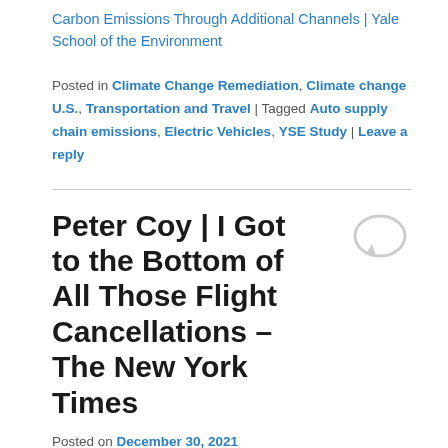Carbon Emissions Through Additional Channels | Yale School of the Environment
Posted in Climate Change Remediation, Climate change U.S., Transportation and Travel | Tagged Auto supply chain emissions, Electric Vehicles, YSE Study | Leave a reply
Peter Coy | I Got to the Bottom of All Those Flight Cancellations – The New York Times
Posted on December 30, 2021